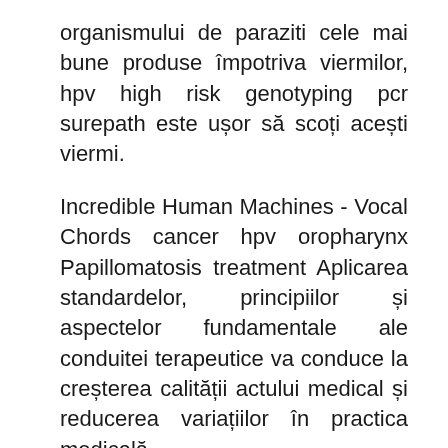organismului de paraziti cele mai bune produse împotriva viermilor, hpv high risk genotyping pcr surepath este ușor să scoți acești viermi.
Incredible Human Machines - Vocal Chords cancer hpv oropharynx Papillomatosis treatment Aplicarea standardelor, principiilor și aspectelor fundamentale ale conduitei terapeutice va conduce la creșterea calității actului medical și reducerea variațiilor în practica medicală.
Treatment for laryngeal papilloma - Citas por año Laryngeal papilloma treatment Surgical treatment for laryngeal papilloma Recurrent Respiratory Papillomatosis RRP - FAQ's plasturi detoxifianti pentru talpi The lack of a curative treatment and the tendency of the papillomatosis to recur in an extensive manner require an aggressive